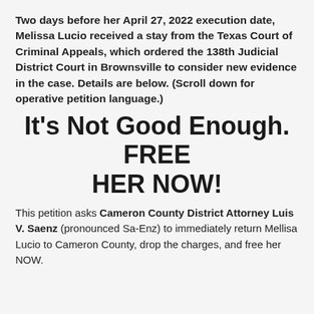Two days before her April 27, 2022 execution date, Melissa Lucio received a stay from the Texas Court of Criminal Appeals, which ordered the 138th Judicial District Court in Brownsville to consider new evidence in the case. Details are below. (Scroll down for operative petition language.)
It's Not Good Enough. FREE HER NOW!
This petition asks Cameron County District Attorney Luis V. Saenz (pronounced Sa-Enz) to immediately return Mellisa Lucio to Cameron County, drop the charges, and free her NOW.